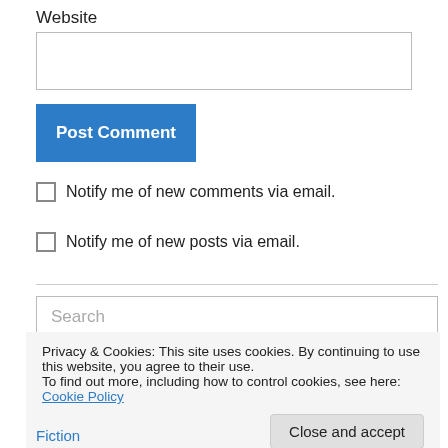Website
[Figure (screenshot): Empty text input field for Website]
[Figure (screenshot): Blue 'Post Comment' button]
Notify me of new comments via email.
Notify me of new posts via email.
[Figure (screenshot): Search input box with placeholder text 'Search']
Privacy & Cookies: This site uses cookies. By continuing to use this website, you agree to their use.
To find out more, including how to control cookies, see here: Cookie Policy
Close and accept
Fiction